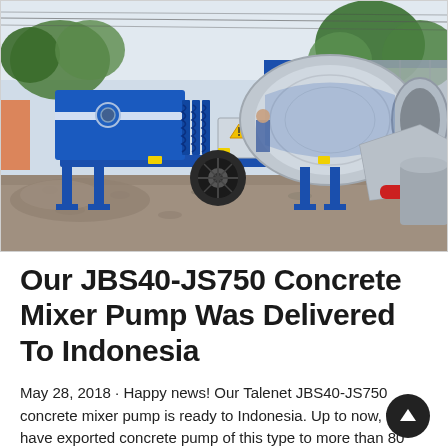[Figure (photo): A blue JBS40-JS750 concrete mixer pump machine on a construction site with gravel ground, palm trees and a metal fence in the background. The equipment has a large grey drum mixer and a blue pump unit mounted on a wheeled trailer frame.]
Our JBS40-JS750 Concrete Mixer Pump Was Delivered To Indonesia
May 28, 2018 · Happy news! Our Talenet JBS40-JS750 concrete mixer pump is ready to Indonesia. Up to now, we have exported concrete pump of this type to more than 80 countries. And our customers give high praise for our machines...